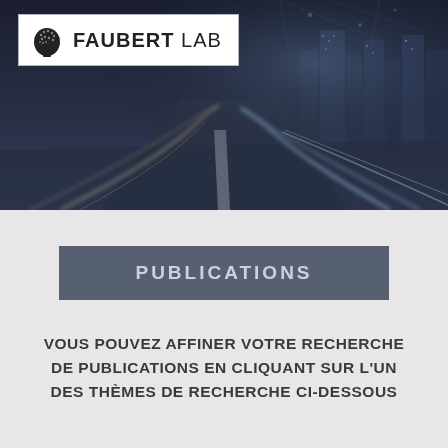[Figure (photo): Hero banner image of a futuristic night city highway with light trails and a glowing cityscape in blue tones, with the Faubert Lab logo overlaid in the top-left corner]
PUBLICATIONS
VOUS POUVEZ AFFINER VOTRE RECHERCHE DE PUBLICATIONS EN CLIQUANT SUR L'UN DES THÈMES DE RECHERCHE CI-DESSOUS